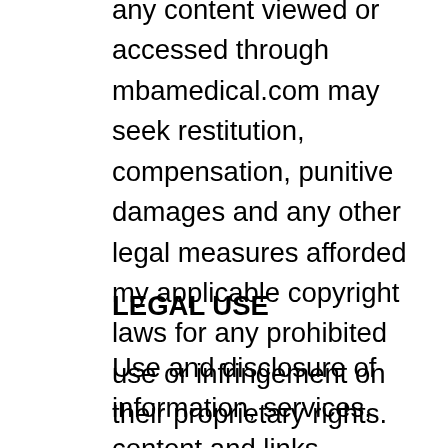any content viewed or accessed through mbamedical.com may seek restitution, compensation, punitive damages and any other legal measures afforded my applicable copyright laws for any prohibited use or infringement on their proprietary rights.
LEGAL USE
Use and disclosure of information, services, content and links available through mbamedical.com is governed by multiple laws, including but not limited to privacy laws, merchant account laws, copyright laws, and security laws. The owners of